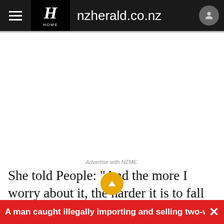nzherald.co.nz
Advertise with NZME.
She told People: "And the more I worry about it, the harder it is to fall asleep. I have been known to [sleepwalk]. I've been woken up by house alarms going
A man caught illegally importing and selling two-way rad